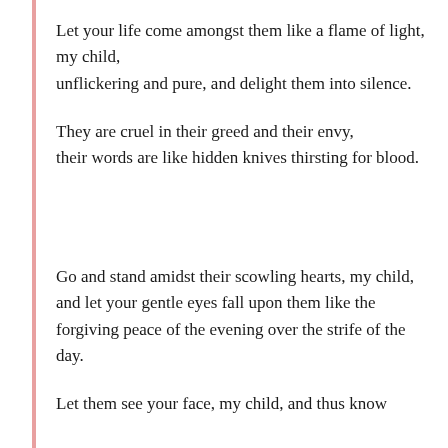Let your life come amongst them like a flame of light, my child,
unflickering and pure, and delight them into silence.
They are cruel in their greed and their envy,
their words are like hidden knives thirsting for blood.
Go and stand amidst their scowling hearts, my child,
and let your gentle eyes fall upon them like the forgiving peace of the evening over the strife of the day.
Let them see your face, my child, and thus know